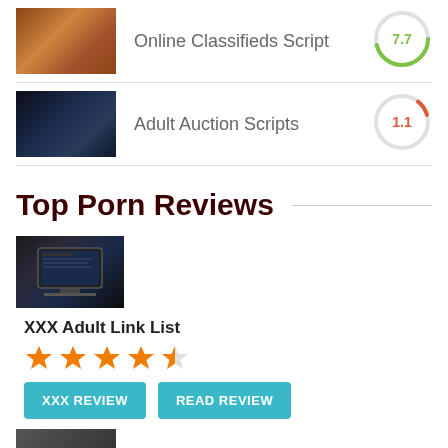[Figure (photo): Thumbnail image for Online Classifieds Script listing]
Online Classifieds Script
[Figure (other): Score circle showing 7.7 in green]
[Figure (photo): Thumbnail image for Adult Auction Scripts listing]
Adult Auction Scripts
[Figure (other): Score circle showing 1.1 in red/orange]
Top Porn Reviews
[Figure (screenshot): Thumbnail screenshot for XXX Adult Link List review]
XXX Adult Link List
[Figure (other): 4.5 star rating in orange stars]
XXX REVIEW
READ REVIEW
[Figure (photo): Partial thumbnail at bottom of page]